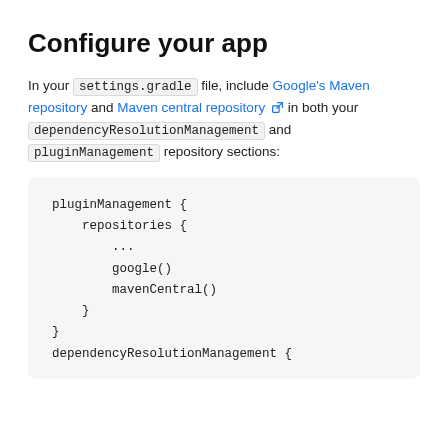Configure your app
In your settings.gradle file, include Google's Maven repository and Maven central repository [external link] in both your dependencyResolutionManagement and pluginManagement repository sections:
[Figure (screenshot): Code block showing Gradle configuration with pluginManagement and dependencyResolutionManagement sections including google() and mavenCentral() repositories]